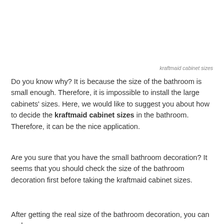kraftmaid cabinet sizes
Do you know why? It is because the size of the bathroom is small enough. Therefore, it is impossible to install the large cabinets' sizes. Here, we would like to suggest you about how to decide the kraftmaid cabinet sizes in the bathroom. Therefore, it can be the nice application.
Are you sure that you have the small bathroom decoration? It seems that you should check the size of the bathroom decoration first before taking the kraftmaid cabinet sizes.
After getting the real size of the bathroom decoration, you can make